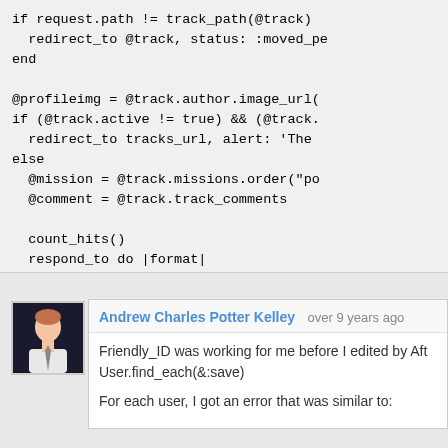[Figure (screenshot): Code block showing Ruby on Rails controller code with if/redirect, @profileimg, @mission, @comment assignments, count_hits(), respond_to block with format.html and format.json, and end statements]
Andrew Charles Potter Kelley  over 9 years ago
Friendly_ID was working for me before I edited by Aft... User.find_each(&:save)

For each user, I got an error that was similar to: